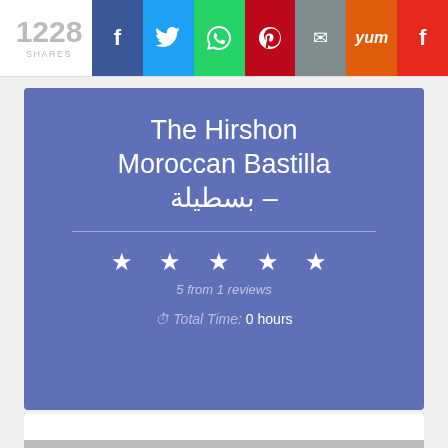[Figure (infographic): Social share bar showing 1228 shares with buttons for Facebook, Twitter, WhatsApp, Pinterest, Email, Yummly, and Flipboard]
The Hirshon Moroccan Bastilla – بسطيلة
5 from 1 reviews
Total Time: 0 hours